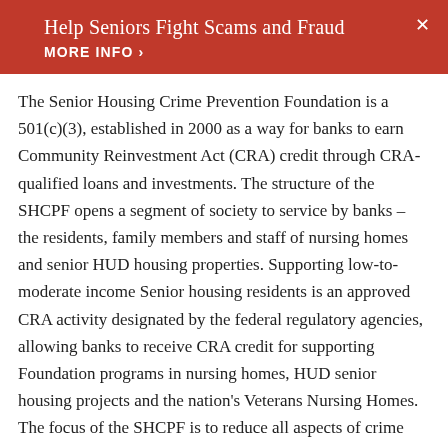Help Seniors Fight Scams and Fraud
MORE INFO ›
The Senior Housing Crime Prevention Foundation is a 501(c)(3), established in 2000 as a way for banks to earn Community Reinvestment Act (CRA) credit through CRA-qualified loans and investments. The structure of the SHCPF opens a segment of society to service by banks – the residents, family members and staff of nursing homes and senior HUD housing properties. Supporting low-to-moderate income Senior housing residents is an approved CRA activity designated by the federal regulatory agencies, allowing banks to receive CRA credit for supporting Foundation programs in nursing homes, HUD senior housing projects and the nation's Veterans Nursing Homes. The focus of the SHCPF is to reduce all aspects of crime and provide ongoing, effective crime prevention programs that ensure a safe and secure environment for the residents of senior housing. In part, this is